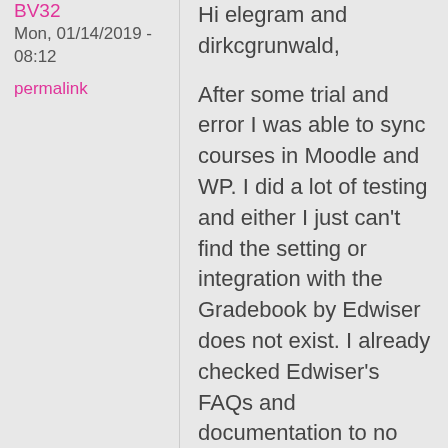BV32
Mon, 01/14/2019 - 08:12
permalink
Hi elegram and dirkcgrunwald,
After some trial and error I was able to sync courses in Moodle and WP. I did a lot of testing and either I just can't find the setting or integration with the Gradebook by Edwiser does not exist. I already checked Edwiser's FAQs and documentation to no avail. Having said this